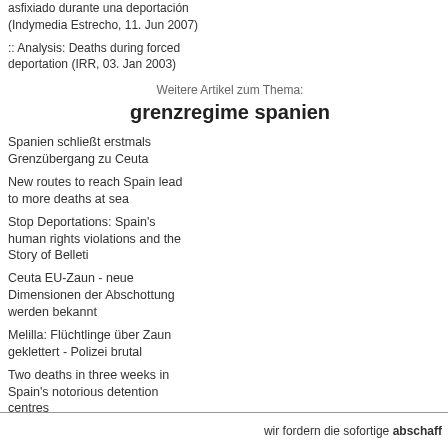asfixiado durante una deportación (Indymedia Estrecho, 11. Jun 2007)
:: Analysis: Deaths during forced deportation (IRR, 03. Jan 2003)
Weitere Artikel zum Thema:
grenzregime spanien
Spanien schließt erstmals Grenzübergang zu Ceuta
New routes to reach Spain lead to more deaths at sea
Stop Deportations: Spain's human rights violations and the Story of Belleti
Ceuta EU-Zaun - neue Dimensionen der Abschottung werden bekannt
Melilla: Flüchtlinge über Zaun geklettert - Polizei brutal
Two deaths in three weeks in Spain's notorious detention centres
Two police officers accused for death of Osamyia Aikpitanhi
Barcelona: Selbstmord in Abschiebehaft
Aikpitanhi. This young man's misstep. authorizing him to live and work in Spain death penalty. We also know enforcement uniquely Spanish barbaric and horrible t right to take the Nigerian's life. The Span inhuman treatment to Mr. Osamuyia Aikp
Nigerians are tired of being treated inhu unwarranted brutalities! Nigerians reject from now onwards, must make non-Nige consequences of a lack!
According to published reports, an Iberia regarding the violation of Mr. Osamuyia violations of international treaties and co the heels of sustained complaints by the the same aircraft which was bound for L witnessed the aggressions that were dir
Sources revealed that the said pilot, eve to protest the inhumanity that he had wit
wir fordern die sofortige abschaff